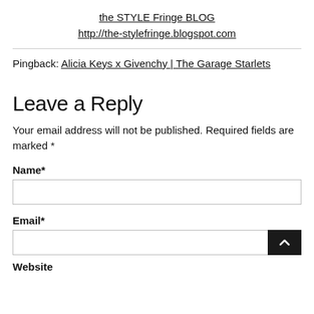the STYLE Fringe BLOG
http://the-stylefringe.blogspot.com
Pingback: Alicia Keys x Givenchy | The Garage Starlets
Leave a Reply
Your email address will not be published. Required fields are marked *
Name*
Email*
Website